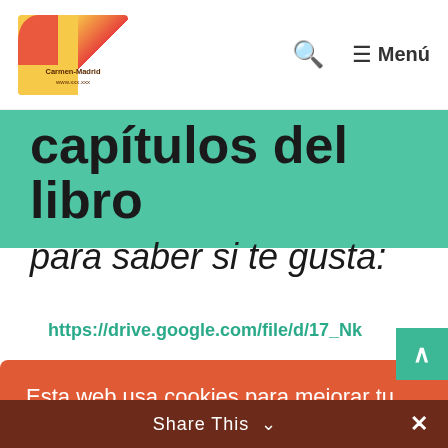Menú (navigation bar with logo and search icon)
capítulos del libro
para saber si te gusta:
https://drive.google.com/file/d/17_Nk
Esta web usa cookies para mejorar tu experiencia. This website uses cookies to ensure you get the best experience.
Más info - Learn more
OK
Share This ∨  ✕